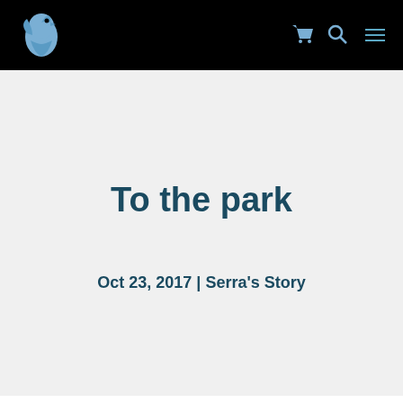Navigation bar with logo and icons
To the park
Oct 23, 2017 | Serra's Story